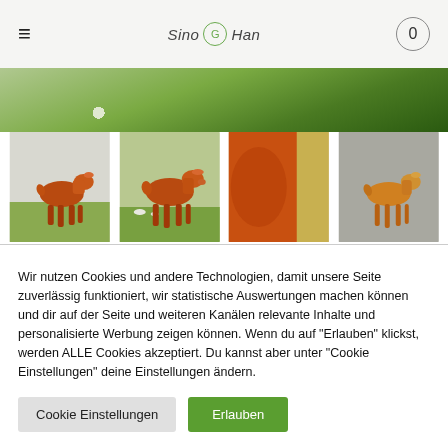☰  Sino G Han  0
[Figure (photo): Wide banner photo of green grass with small white object, partially visible at top of page]
[Figure (photo): Four thumbnail images of orange/rust-colored metal deer figurines in various outdoor settings]
Wir nutzen Cookies und andere Technologien, damit unsere Seite zuverlässig funktioniert, wir statistische Auswertungen machen können und dir auf der Seite und weiteren Kanälen relevante Inhalte und personalisierte Werbung zeigen können. Wenn du auf "Erlauben" klickst, werden ALLE Cookies akzeptiert. Du kannst aber unter "Cookie Einstellungen" deine Einstellungen ändern.
Cookie Einstellungen
Erlauben